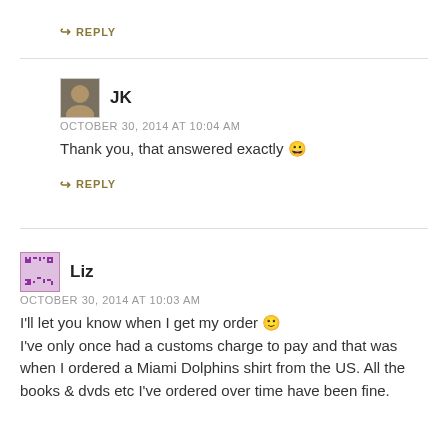↪ REPLY
JK
OCTOBER 30, 2014 AT 10:04 AM
Thank you, that answered exactly 😀
↪ REPLY
Liz
OCTOBER 30, 2014 AT 10:03 AM
I'll let you know when I get my order 🙂 I've only once had a customs charge to pay and that was when I ordered a Miami Dolphins shirt from the US. All the books & dvds etc I've ordered over time have been fine.